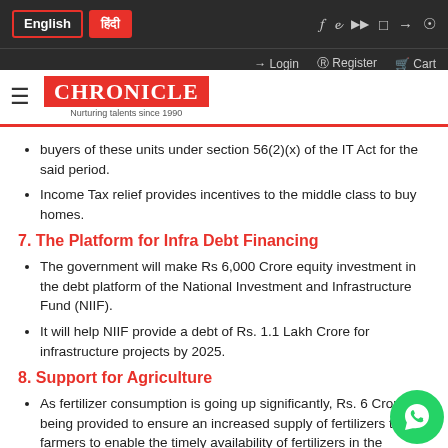English | हिंदी | Login | Register | Cart
[Figure (logo): Chronicle - Nurturing talents since 1990 logo with red background]
buyers of these units under section 56(2)(x) of the IT Act for the said period.
Income Tax relief provides incentives to the middle class to buy homes.
7. The Platform for Infra Debt Financing
The government will make Rs 6,000 Crore equity investment in the debt platform of the National Investment and Infrastructure Fund (NIIF).
It will help NIIF provide a debt of Rs. 1.1 Lakh Crore for infrastructure projects by 2025.
8. Support for Agriculture
As fertilizer consumption is going up significantly, Rs. 6 Crore is being provided to ensure an increased supply of fertilizers to farmers to enable the timely availability of fertilizers in the upcoming crop season.